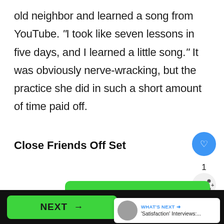old neighbor and learned a song from YouTube. “I took like seven lessons in five days, and I learned a little song.” It was obviously nerve-wracking, but the practice she did in such a short amount of time paid off.
Close Friends Off Set
[Figure (screenshot): UI overlay elements: heart/like button (blue circle), like count '1', share button (grey circle with share icon), What's Next card with avatar and text 'Satisfaction' Interviews:...', large green NEXT button with arrow]
NEXT →